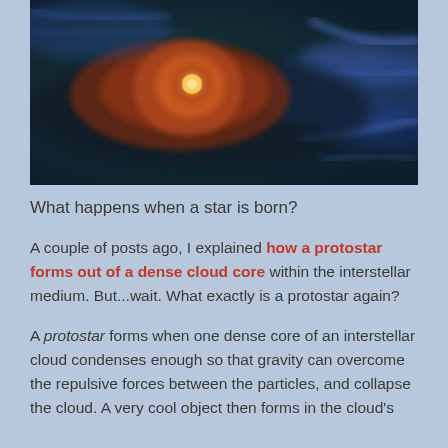[Figure (photo): Artistic illustration of a protostar forming, showing a glowing golden-orange core surrounded by swirling reddish-brown gas and dust clouds against a dark teal/blue background with wispy blue gas filaments.]
What happens when a star is born?
A couple of posts ago, I explained how a protostar forms out of a dense cloud core within the interstellar medium. But...wait. What exactly is a protostar again?
A protostar forms when one dense core of an interstellar cloud condenses enough so that gravity can overcome the repulsive forces between the particles, and collapse the cloud. A very cool object then forms in the cloud's